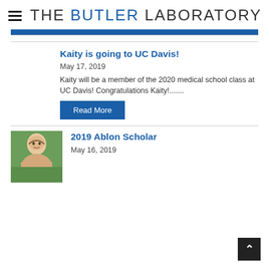THE BUTLER LABORATORY
Kaity is going to UC Davis!
May 17, 2019
Kaity will be a member of the 2020 medical school class at UC Davis!  Congratulations Kaity!.......
Read More
2019 Ablon Scholar
May 16, 2019